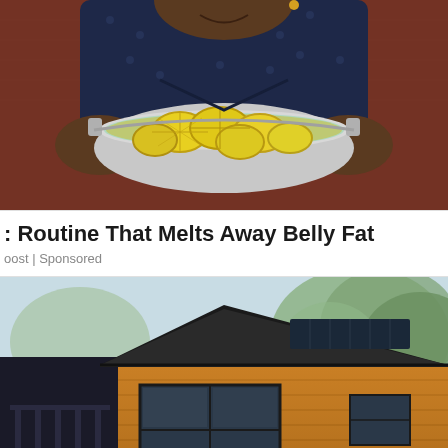[Figure (photo): A person holding a large silver pot filled with lemon slices in liquid, wearing a dark patterned shirt, smiling, against a brick wall background. Top portion of the image is visible, cropped at the top.]
Routine That Melts Away Belly Fat
oost | Sponsored
[Figure (photo): A modern tiny/mobile home or lodge with wood-effect horizontal siding in warm brown tones, black roof and window frames, large windows, set against a background of trees and sky. Bottom portion visible.]